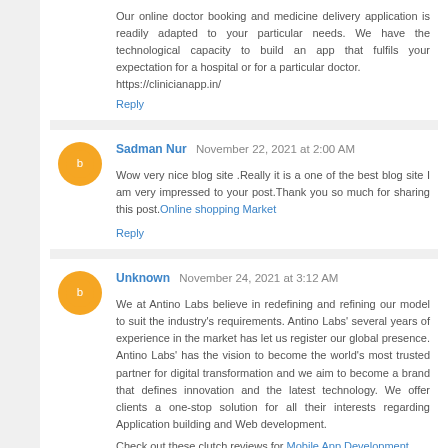Our online doctor booking and medicine delivery application is readily adapted to your particular needs. We have the technological capacity to build an app that fulfils your expectation for a hospital or for a particular doctor.
https://clinicianapp.in/
Reply
Sadman Nur  November 22, 2021 at 2:00 AM
Wow very nice blog site .Really it is a one of the best blog site I am very impressed to your post.Thank you so much for sharing this post. Online shopping Market
Reply
Unknown  November 24, 2021 at 3:12 AM
We at Antino Labs believe in redefining and refining our model to suit the industry's requirements. Antino Labs' several years of experience in the market has let us register our global presence. Antino Labs' has the vision to become the world's most trusted partner for digital transformation and we aim to become a brand that defines innovation and the latest technology. We offer clients a one-stop solution for all their interests regarding Application building and Web development.
Check out these clutch reviews for Mobile App Development